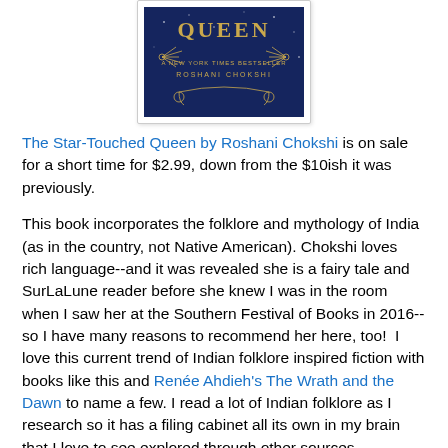[Figure (photo): Book cover of 'The Star-Touched Queen' by Roshani Chokshi — dark blue/navy background with gold decorative elements and the text 'QUEEN', 'A NEW YORK TIMES BESTSELLER', and 'ROSHANI CHOKSHI']
The Star-Touched Queen by Roshani Chokshi is on sale for a short time for $2.99, down from the $10ish it was previously.
This book incorporates the folklore and mythology of India (as in the country, not Native American). Chokshi loves rich language--and it was revealed she is a fairy tale and SurLaLune reader before she knew I was in the room when I saw her at the Southern Festival of Books in 2016--so I have many reasons to recommend her here, too!  I love this current trend of Indian folklore inspired fiction with books like this and Renée Ahdieh's The Wrath and the Dawn to name a few. I read a lot of Indian folklore as I research so it has a filing cabinet all its own in my brain that I love to see explored through other sources.